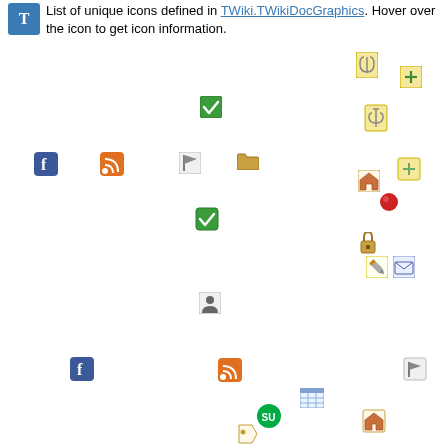List of unique icons defined in TWiki.TWikiDocGraphics. Hover over the icon to get icon information.
[Figure (infographic): A scattered collection of small icons on white background: paperclip icon (top right area), add/new document icon, green checkbox icon (center), Facebook icon (left), RSS feed orange icon, flag icon, folder icon, home icon (right), red dot icon, padlock icon, edit pencil icon, email icon, person/user icon (center-lower), table/spreadsheet icon (lower right area), StumbleUpon green icon, tag icon (bottom center)]